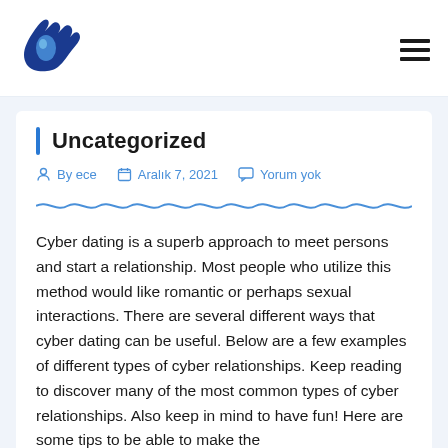[Figure (logo): Blue hand with water droplet logo icon]
Uncategorized
By ece   Aralık 7, 2021   Yorum yok
Cyber dating is a superb approach to meet persons and start a relationship. Most people who utilize this method would like romantic or perhaps sexual interactions. There are several different ways that cyber dating can be useful. Below are a few examples of different types of cyber relationships. Keep reading to discover many of the most common types of cyber relationships. Also keep in mind to have fun! Here are some tips to be able to make the